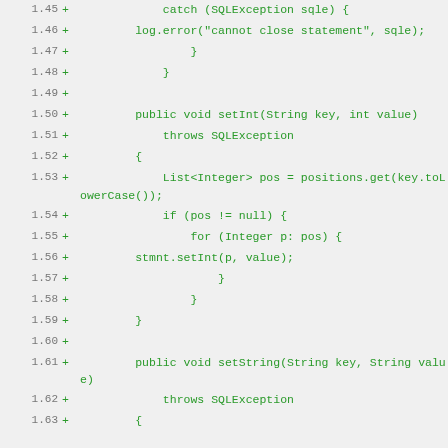Code diff showing Java code lines 1.45 through 1.63, displaying a catch block for SQLException and methods setInt and setString
[Figure (screenshot): Diff view of Java source code showing added lines (marked with +) from line numbers 1.45 to 1.63, with a light gray background and green text for added code]